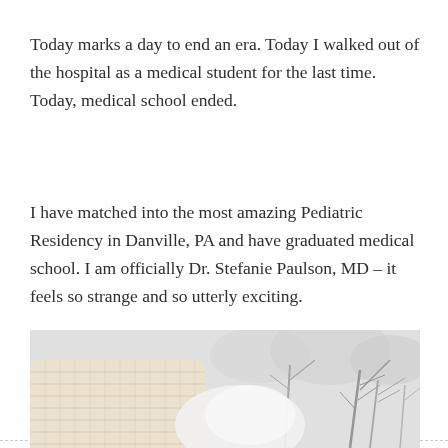Today marks a day to end an era. Today I walked out of the hospital as a medical student for the last time. Today, medical school ended.
I have matched into the most amazing Pediatric Residency in Danville, PA and have graduated medical school. I am officially Dr. Stefanie Paulson, MD – it feels so strange and so utterly exciting.
[Figure (photo): A person wearing a cream/white knitted hat in a wintry outdoor scene with bare trees in the background, snowy and misty atmosphere.]